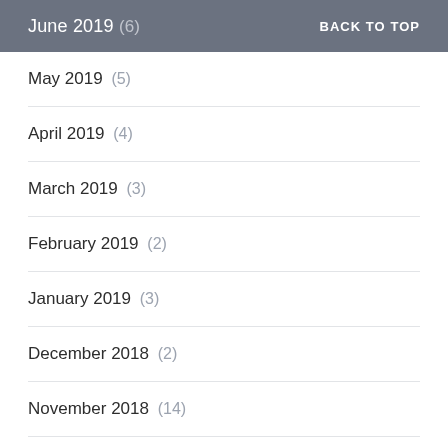June 2019 (6) BACK TO TOP
May 2019 (5)
April 2019 (4)
March 2019 (3)
February 2019 (2)
January 2019 (3)
December 2018 (2)
November 2018 (14)
October 2018 (11)
September 2018 (4)